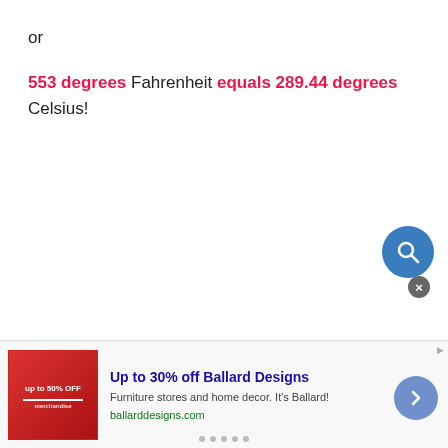or
553 degrees Fahrenheit equals 289.44 degrees Celsius!
[Figure (other): Teal circular search button with magnifying glass icon]
[Figure (other): Advertisement banner: Up to 30% off Ballard Designs. Furniture stores and home decor. It's Ballard! ballarddesigns.com]